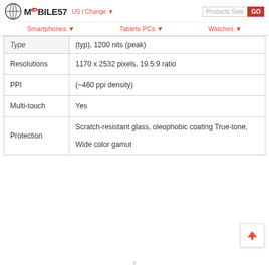MOBILE57 US | Change ▼   Products Search GO
Smartphones ▼   Tablets PCs ▼   Watches ▼
| Property | Value |
| --- | --- |
| Type | (typ), 1200 nits (peak) |
| Resolutions | 1170 x 2532 pixels, 19.5:9 ratio |
| PPI | (~460 ppi density) |
| Multi-touch | Yes |
| Protection | Scratch-resistant glass, oleophobic coating True-tone,

Wide color gamut |